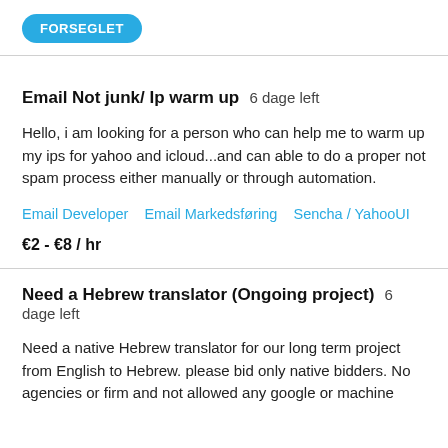FORSEGLET
Email Not junk/ Ip warm up  6 dage left
Hello, i am looking for a person who can help me to warm up my ips for yahoo and icloud...and can able to do a proper not spam process either manually or through automation.
Email Developer   Email Markedsføring   Sencha / YahooUI
€2 - €8 / hr
Need a Hebrew translator (Ongoing project)  6 dage left
Need a native Hebrew translator for our long term project from English to Hebrew. please bid only native bidders. No agencies or firm and not allowed any google or machine